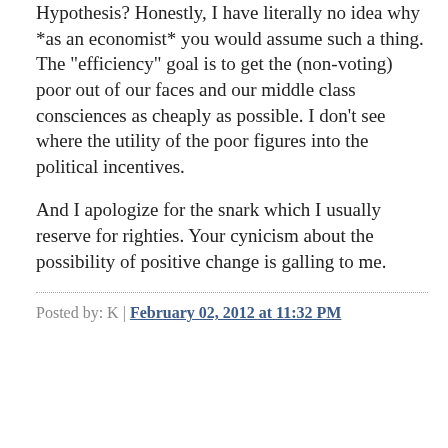Hypothesis? Honestly, I have literally no idea why *as an economist* you would assume such a thing. The "efficiency" goal is to get the (non-voting) poor out of our faces and our middle class consciences as cheaply as possible. I don't see where the utility of the poor figures into the political incentives.
And I apologize for the snark which I usually reserve for righties. Your cynicism about the possibility of positive change is galling to me.
Posted by: K | February 02, 2012 at 11:32 PM